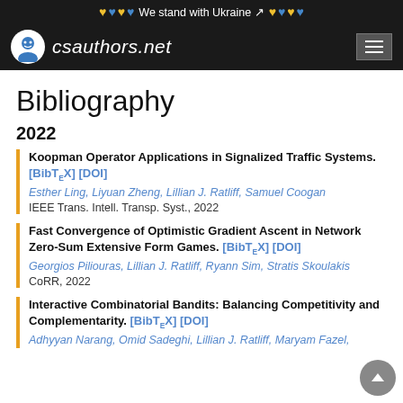We stand with Ukraine
csauthors.net
Bibliography
2022
Koopman Operator Applications in Signalized Traffic Systems. [BibTeX] [DOI]
Esther Ling, Liyuan Zheng, Lillian J. Ratliff, Samuel Coogan
IEEE Trans. Intell. Transp. Syst., 2022
Fast Convergence of Optimistic Gradient Ascent in Network Zero-Sum Extensive Form Games. [BibTeX] [DOI]
Georgios Piliouras, Lillian J. Ratliff, Ryann Sim, Stratis Skoulakis
CoRR, 2022
Interactive Combinatorial Bandits: Balancing Competitivity and Complementarity. [BibTeX] [DOI]
Adhyyan Narang, Omid Sadeghi, Lillian J. Ratliff, Maryam Fazel,